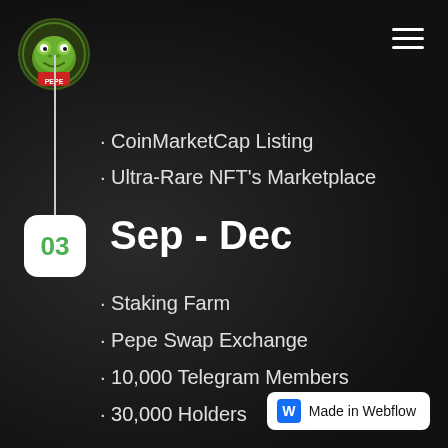[Figure (logo): Circular Pepe frog logo with green border, top-left corner]
[Figure (other): Hamburger menu icon (three horizontal white lines), top-right corner]
CoinMarketCap Listing
Ultra-Rare NFT's Marketplace
[Figure (other): Vertical timeline line connecting top section to step badge 03]
[Figure (other): White rounded square badge with green number 03]
Sep - Dec
Staking Farm
Pepe Swap Exchange
10,000 Telegram Members
30,000 Holders
[Figure (logo): Made in Webflow badge, bottom-right corner, white rounded rectangle with blue W icon]